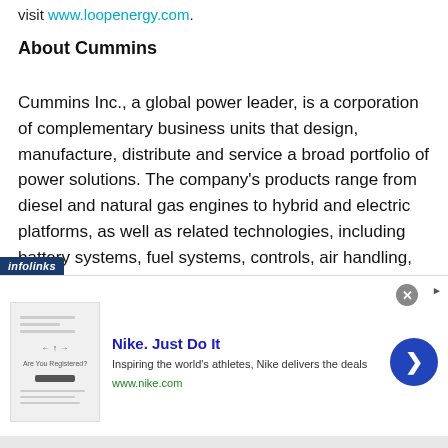visit www.loopenergy.com.
About Cummins
Cummins Inc., a global power leader, is a corporation of complementary business units that design, manufacture, distribute and service a broad portfolio of power solutions. The company's products range from diesel and natural gas engines to hybrid and electric platforms, as well as related technologies, including battery systems, fuel systems, controls, air handling, filtration, emission solutions
[Figure (other): Infolinks advertisement overlay for Nike. Just Do It — 'Inspiring the world's athletes, Nike delivers the deals' at www.nike.com, with a thumbnail image and a blue chevron button.]